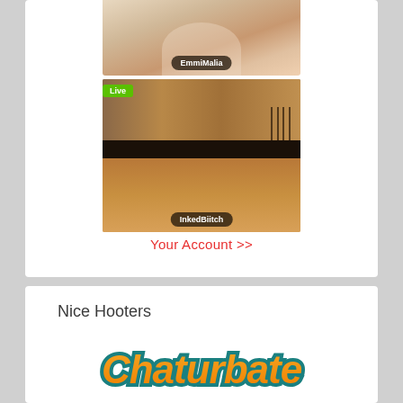[Figure (screenshot): Thumbnail image labeled EmmiMalia - partial body shot]
[Figure (screenshot): Thumbnail image labeled InkedBiitch with Live badge - kitchen background]
Your Account >>
Nice Hooters
[Figure (logo): Chaturbate logo in orange and teal script lettering]